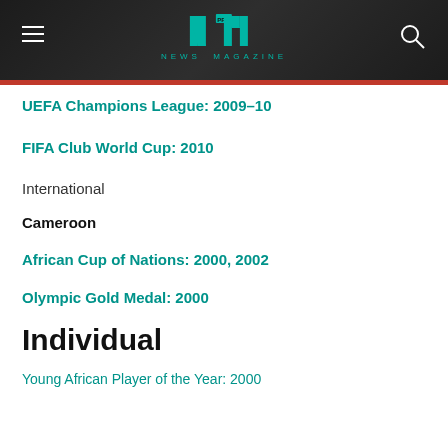NEWS MAGAZINE
UEFA Champions League: 2009–10
FIFA Club World Cup: 2010
International
Cameroon
African Cup of Nations: 2000, 2002
Olympic Gold Medal: 2000
Individual
Young African Player of the Year: 2000